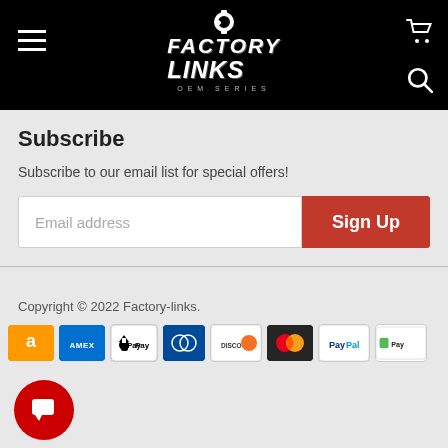[Figure (logo): Factory Links OEM Series logo with gear icon on black header background, with hamburger menu icon left, cart and search icons right]
Subscribe
Subscribe to our email list for special offers!
[Figure (screenshot): Email address input field with Sign Up button]
Copyright © 2022 Factory-links.
[Figure (infographic): Payment method icons: Amazon, Amex, Apple Pay, Diners Club, Discover, Mastercard, PayPal, Shopify Pay]
[Figure (other): Red circular chat button with speech bubble icon]